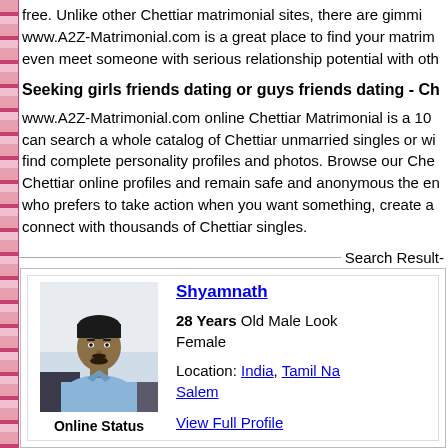free. Unlike other Chettiar matrimonial sites, there are gimmicks www.A2Z-Matrimonial.com is a great place to find your matrim even meet someone with serious relationship potential with oth
Seeking girls friends dating or guys friends dating - Ch
www.A2Z-Matrimonial.com online Chettiar Matrimonial is a 100 can search a whole catalog of Chettiar unmarried singles or wi find complete personality profiles and photos. Browse our Che Chettiar online profiles and remain safe and anonymous the en who prefers to take action when you want something, create a connect with thousands of Chettiar singles.
Search Result-
[Figure (photo): Profile photo of Shyamnath, a young Indian male wearing a light blue shirt, seated indoors]
Online Status
Shyamnath
28 Years Old Male Looking for Female
Location: India, Tamil Nadu, Salem
View Full Profile